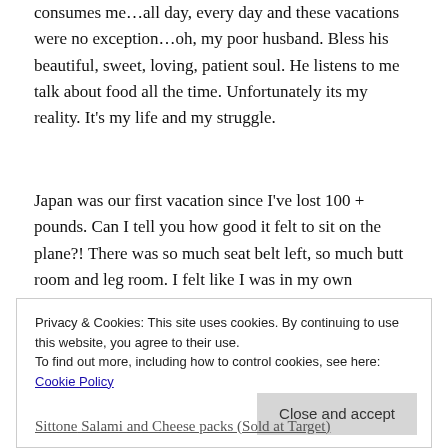consumes me…all day, every day and these vacations were no exception…oh, my poor husband. Bless his beautiful, sweet, loving, patient soul. He listens to me talk about food all the time. Unfortunately its my reality. It's my life and my struggle.
Japan was our first vacation since I've lost 100 + pounds. Can I tell you how good it felt to sit on the plane?! There was so much seat belt left, so much butt room and leg room. I felt like I was in my own personal first class seat.
Food that I packed:
Privacy & Cookies: This site uses cookies. By continuing to use this website, you agree to their use. To find out more, including how to control cookies, see here: Cookie Policy
Sittone Salami and Cheese packs (Sold at Target)